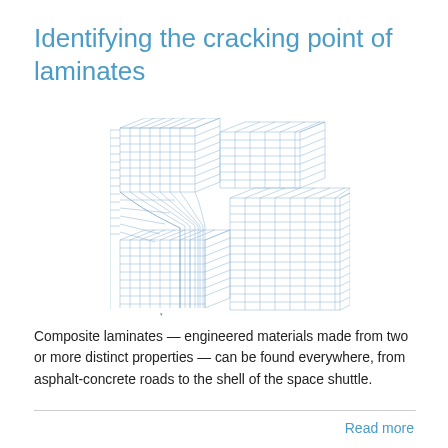Identifying the cracking point of laminates
[Figure (engineering-diagram): 3D wireframe mesh diagram showing cracking/delamination in a composite laminate structure, rendered with blue grid lines on white background showing a stepped fracture surface.]
Composite laminates — engineered materials made from two or more distinct properties — can be found everywhere, from asphalt-concrete roads to the shell of the space shuttle.
Read more